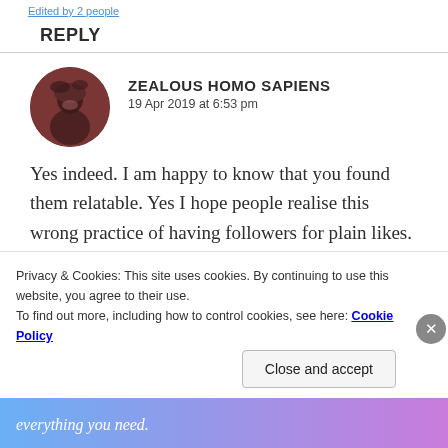Edited by 2 people
REPLY
ZEALOUS HOMO SAPIENS
19 Apr 2019 at 6:53 pm
Yes indeed. I am happy to know that you found them relatable. Yes I hope people realise this wrong practice of having followers for plain likes. Making a friend here, is worth more than a
Privacy & Cookies: This site uses cookies. By continuing to use this website, you agree to their use.
To find out more, including how to control cookies, see here: Cookie Policy
Close and accept
[Figure (infographic): Advertisement banner at bottom of page with gradient background and italic text 'everything you need.']